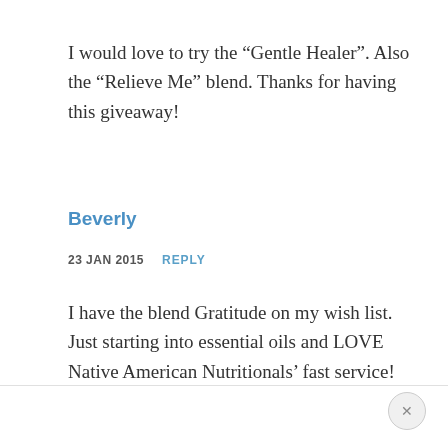I would love to try the “Gentle Healer”. Also the “Relieve Me” blend. Thanks for having this giveaway!
Beverly
23 JAN 2015   REPLY
I have the blend Gratitude on my wish list. Just starting into essential oils and LOVE Native American Nutritionals’ fast service!